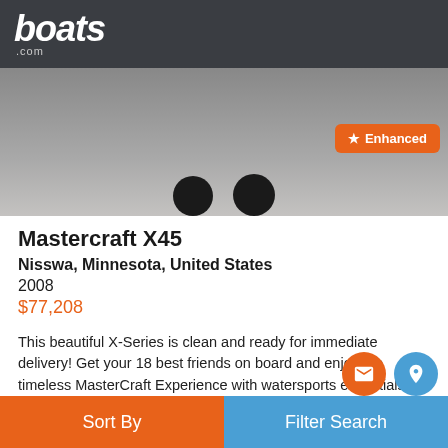boats.com
Toggle navigation
[Figure (screenshot): Partial view of a MasterCraft X45 boat from behind showing wheels/hull against grey background]
Mastercraft X45
Nisswa, Minnesota, United States
2008
$77,208
This beautiful X-Series is clean and ready for immediate delivery! Get your 18 best friends on board and enjoy the timeless MasterCraft Experience with watersports essentials like its wake tower, ski pylon, and ballast system. This unit only has 217 engine hours, which means you and your crew will make unforgettable summer memories for years to come! Find
More
Sort By  Filter Search